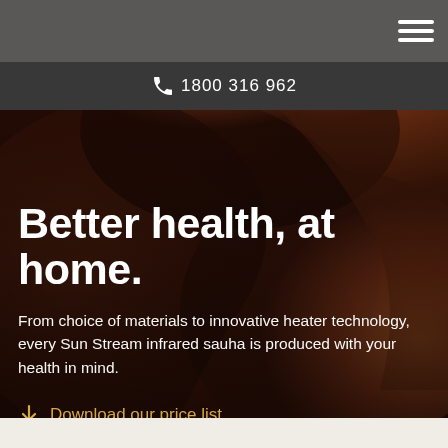Navigation bar with hamburger menu
1800 316 962
[Figure (photo): Close-up photo of a person's skin and shoulder/neck area in warm amber/brown tones, suggesting a sauna or heat wellness context]
Better health, at home.
From choice of materials to innovative heater technology, every Sun Stream infrared sauna is produced with your health in mind.
Download our price list